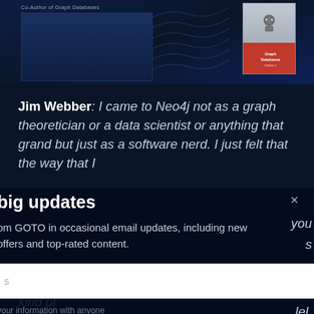[Figure (screenshot): Top banner of a GOTO conference/video page showing speaker info and a book cover for 'Graph Databases'. Dark blue background with wave pattern.]
Jim Webber: I came to Neo4j not as a graph theoretician or a data scientist or anything that grand but just as a software nerd. I just felt that the way that I...
big updates
× (close button)
om GOTO in occasional email updates, including new offers and top-rated content.
your information with anyone
. So you don't have to care about this.
But then, once I got into graphs, you know, I kind of